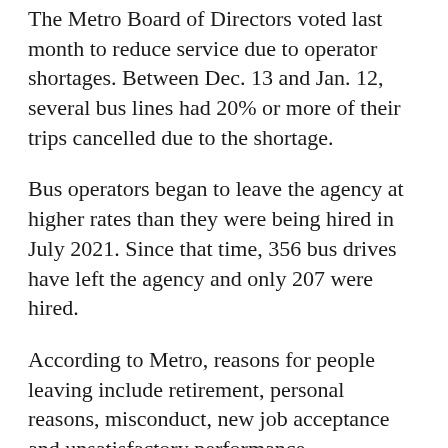The Metro Board of Directors voted last month to reduce service due to operator shortages. Between Dec. 13 and Jan. 12, several bus lines had 20% or more of their trips cancelled due to the shortage.
Bus operators began to leave the agency at higher rates than they were being hired in July 2021. Since that time, 356 bus drives have left the agency and only 207 were hired.
According to Metro, reasons for people leaving include retirement, personal reasons, misconduct, new job acceptance and unsatisfactory performance.
Metro officials said the cancellations disproportionately impact "equity focused communities," particularly in South Los Angeles.